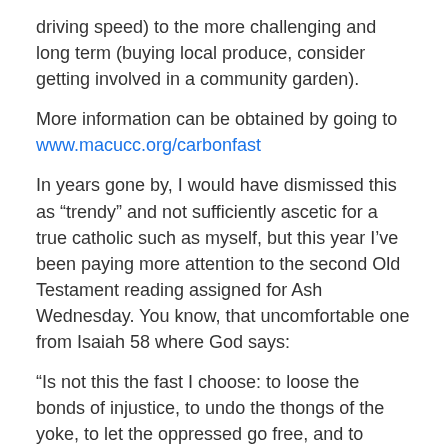driving speed) to the more challenging and long term (buying local produce, consider getting involved in a community garden).
More information can be obtained by going to www.macucc.org/carbonfast
In years gone by, I would have dismissed this as “trendy” and not sufficiently ascetic for a true catholic such as myself, but this year I’ve been paying more attention to the second Old Testament reading assigned for Ash Wednesday. You know, that uncomfortable one from Isaiah 58 where God says:
“Is not this the fast I choose: to loose the bonds of injustice, to undo the thongs of the yoke, to let the oppressed go free, and to break every yoke?